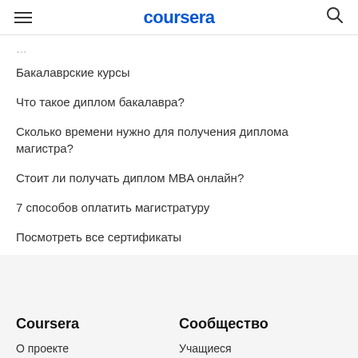coursera
Бакалаврские курсы
Что такое диплом бакалавра?
Сколько времени нужно для получения диплома магистра?
Стоит ли получать диплом MBA онлайн?
7 способов оплатить магистратуру
Посмотреть все сертификаты
Coursera
Сообщество
О проекте
Учащиеся
Что мы предлагаем
Партнеры
Руководство
Разработчики